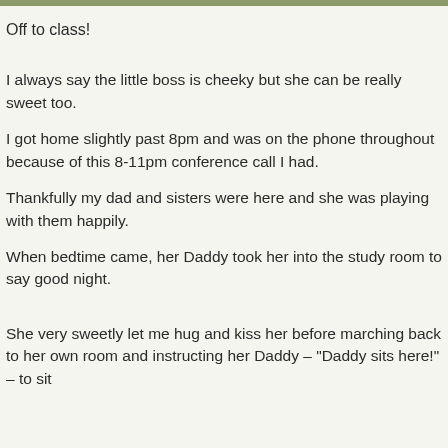Off to class!
I always say the little boss is cheeky but she can be really sweet too.
I got home slightly past 8pm and was on the phone throughout because of this 8-11pm conference call I had.
Thankfully my dad and sisters were here and she was playing with them happily.
When bedtime came, her Daddy took her into the study room to say good night.
She very sweetly let me hug and kiss her before marching back to her own room and instructing her Daddy – "Daddy sits here!" – to sit